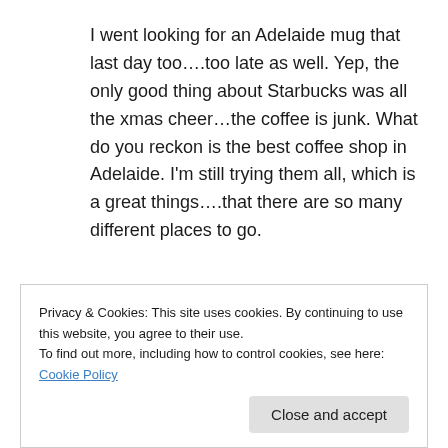I went looking for an Adelaide mug that last day too….too late as well. Yep, the only good thing about Starbucks was all the xmas cheer…the coffee is junk. What do you reckon is the best coffee shop in Adelaide. I'm still trying them all, which is a great things….that there are so many different places to go.
Suzer
★ Like
Privacy & Cookies: This site uses cookies. By continuing to use this website, you agree to their use.
To find out more, including how to control cookies, see here: Cookie Policy
Close and accept